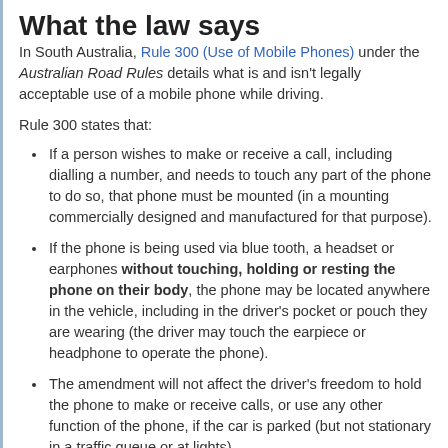What the law says
In South Australia, Rule 300 (Use of Mobile Phones) under the Australian Road Rules details what is and isn't legally acceptable use of a mobile phone while driving.
Rule 300 states that:
If a person wishes to make or receive a call, including dialling a number, and needs to touch any part of the phone to do so, that phone must be mounted (in a mounting commercially designed and manufactured for that purpose).
If the phone is being used via blue tooth, a headset or earphones without touching, holding or resting the phone on their body, the phone may be located anywhere in the vehicle, including in the driver's pocket or pouch they are wearing (the driver may touch the earpiece or headphone to operate the phone).
The amendment will not affect the driver's freedom to hold the phone to make or receive calls, or use any other function of the phone, if the car is parked (but not stationary in a traffic queue or at lights).